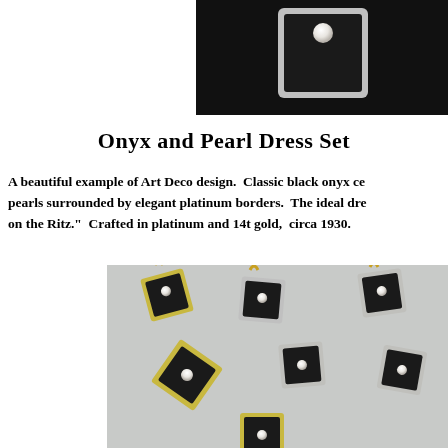[Figure (photo): Close-up photo of a black onyx and pearl dress set piece with silver/platinum border on dark background]
Onyx and Pearl Dress Set
A beautiful example of Art Deco design.  Classic black onyx centers with pearls surrounded by elegant platinum borders.  The ideal dre... on the Ritz."  Crafted in platinum and 14t gold,  circa 1930.
[Figure (photo): Photo of multiple black onyx and pearl dress set pieces with gold/silver borders arranged on a light gray surface]